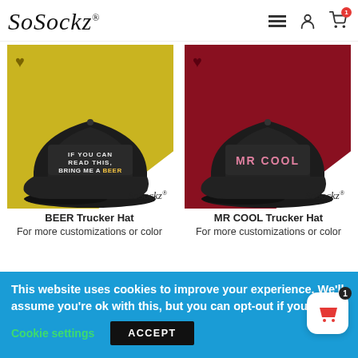SoSockz® — navigation header with hamburger menu, person icon, and cart icon with badge 1
[Figure (photo): BEER Trucker Hat product image on yellow/olive diamond background with SoSockz watermark and heart icon]
BEER Trucker Hat
For more customizations or color
[Figure (photo): MR COOL Trucker Hat product image on dark red diamond background with SoSockz watermark and heart icon]
MR COOL Trucker Hat
For more customizations or color
This website uses cookies to improve your experience. We'll assume you're ok with this, but you can opt-out if you
Cookie settings
ACCEPT